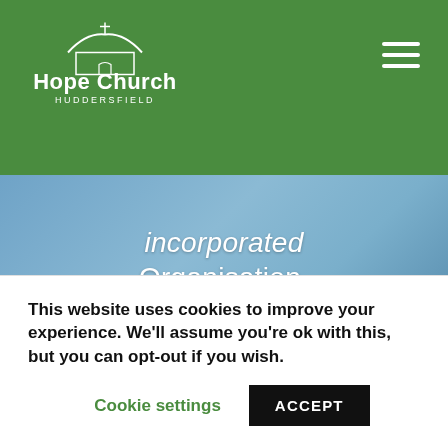Hope Church Huddersfield — navigation header with logo and hamburger menu
[Figure (screenshot): Blurred outdoor background image showing blue sky and dark building/architecture, with white large text overlay reading 'Incorporated Organisation. All content on this site is © Copyright to Hope']
This website uses cookies to improve your experience. We'll assume you're ok with this, but you can opt-out if you wish.
Cookie settings  ACCEPT